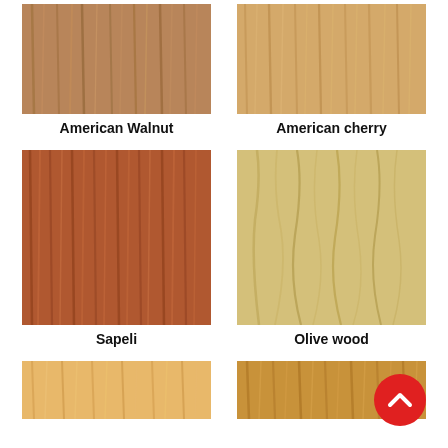[Figure (photo): American Walnut wood grain swatch, medium warm brown tone with vertical grain]
American Walnut
[Figure (photo): American cherry wood grain swatch, light golden-brown tone with vertical grain]
American cherry
[Figure (photo): Sapeli wood grain swatch, reddish-brown tone with vertical grain]
Sapeli
[Figure (photo): Olive wood grain swatch, light yellowish-tan tone with wavy grain patterns]
Olive wood
[Figure (photo): Partially visible light orange-tan wood grain swatch at bottom left]
[Figure (photo): Partially visible medium warm-brown wood grain swatch at bottom right]